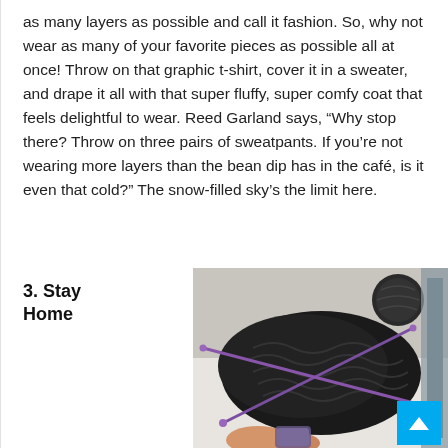as many layers as possible and call it fashion. So, why not wear as many of your favorite pieces as possible all at once! Throw on that graphic t-shirt, cover it in a sweater, and drape it all with that super fluffy, super comfy coat that feels delightful to wear. Reed Garland says, “Why stop there? Throw on three pairs of sweatpants. If you’re not wearing more layers than the bean dip has in the café, is it even that cold?” The snow-filled sky’s the limit here.
3. Stay Home
[Figure (photo): Overhead photo of hands knitting with purple/violet needles on a dark black chunky knit project, with a ball of dark yarn nearby, on a white fluffy surface. A small blue scroll-to-top button appears in the bottom right corner.]